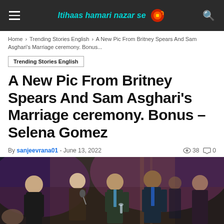Itihaas hamari nazar se
Home › Trending Stories English › A New Pic From Britney Spears And Sam Asghari's Marriage ceremony. Bonus...
Trending Stories English
A New Pic From Britney Spears And Sam Asghari's Marriage ceremony. Bonus – Selena Gomez
By sanjeevrana01 - June 13, 2022  38  0
[Figure (photo): Party scene with people dressed in formal attire, dancing and socializing at what appears to be a wedding reception with pink/purple lighting]